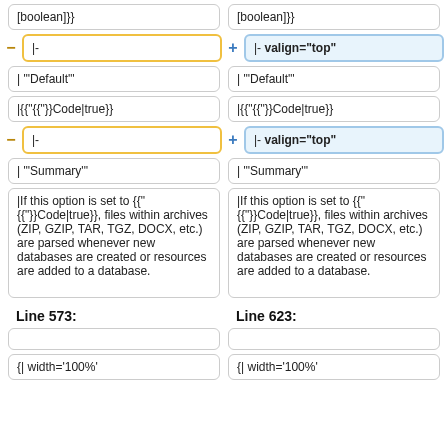[boolean]}}
[boolean]}}
|-
|- valign="top"
| "'Default'"
| "'Default'"
|{{Code|true}}
|{{Code|true}}
|-
|- valign="top"
| "'Summary'"
| "'Summary'"
|If this option is set to {{Code|true}}, files within archives (ZIP, GZIP, TAR, TGZ, DOCX, etc.) are parsed whenever new databases are created or resources are added to a database.
|If this option is set to {{Code|true}}, files within archives (ZIP, GZIP, TAR, TGZ, DOCX, etc.) are parsed whenever new databases are created or resources are added to a database.
Line 573:
Line 623:
{| width='100%'
{| width='100%'